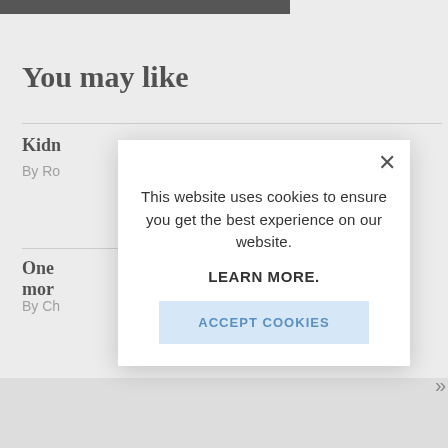You may like
Kidn
By Ro
One mor
By Ch
[Figure (screenshot): Cookie consent modal dialog with close button (×), text 'This website uses cookies to ensure you get the best experience on our website.', bold link 'LEARN MORE.', and a light blue 'ACCEPT COOKIES' button.]